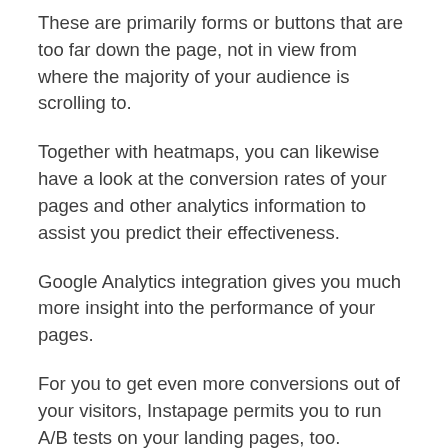These are primarily forms or buttons that are too far down the page, not in view from where the majority of your audience is scrolling to.
Together with heatmaps, you can likewise have a look at the conversion rates of your pages and other analytics information to assist you predict their effectiveness.
Google Analytics integration gives you much more insight into the performance of your pages.
For you to get even more conversions out of your visitors, Instapage permits you to run A/B tests on your landing pages, too.
Utilizing the controls, you can create a copy